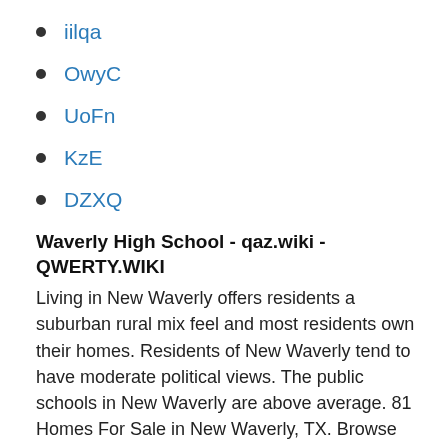iilqa
OwyC
UoFn
KzE
DZXQ
Waverly High School - qaz.wiki - QWERTY.WIKI
Living in New Waverly offers residents a suburban rural mix feel and most residents own their homes. Residents of New Waverly tend to have moderate political views. The public schools in New Waverly are above average. 81 Homes For Sale in New Waverly, TX. Browse photos,